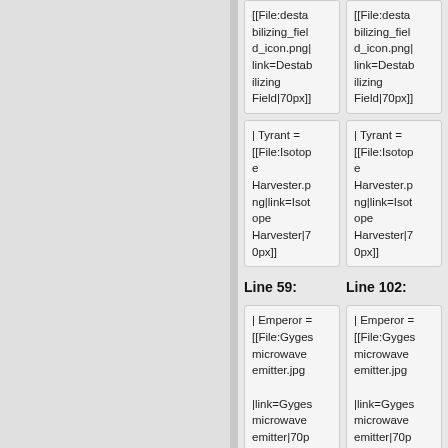[[File:destabilizing_field_icon.png|link=Destabilizing Field|70px]]
[[File:destabilizing_field_icon.png|link=Destabilizing Field|70px]]
| Tyrant = [[File:Isotope Harvester.png|link=Isotope Harvester|70px]]
| Tyrant = [[File:Isotope Harvester.png|link=Isotope Harvester|70px]]
Line 59:
Line 102:
| Emperor = [[File:Gyges microwave emitter.jpg

|link=Gyges microwave emitter|70px]]
| Emperor = [[File:Gyges microwave emitter.jpg

|link=Gyges microwave emitter|70px]]